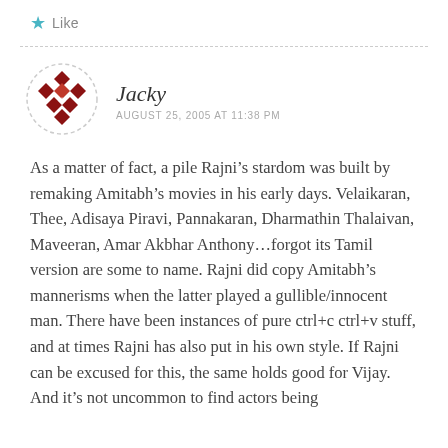Like
Jacky
AUGUST 25, 2005 AT 11:38 PM
As a matter of fact, a pile Rajni’s stardom was built by remaking Amitabh’s movies in his early days. Velaikaran, Thee, Adisaya Piravi, Pannakaran, Dharmathin Thalaivan, Maveeran, Amar Akbhar Anthony…forgot its Tamil version are some to name. Rajni did copy Amitabh’s mannerisms when the latter played a gullible/innocent man. There have been instances of pure ctrl+c ctrl+v stuff, and at times Rajni has also put in his own style. If Rajni can be excused for this, the same holds good for Vijay. And it’s not uncommon to find actors being